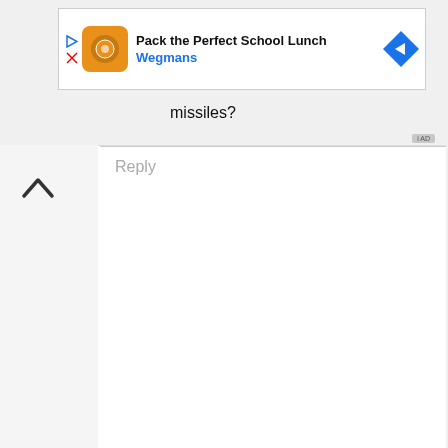[Figure (screenshot): Top advertisement banner: orange icon for Wegmans, text 'Pack the Perfect School Lunch', blue 'Wegmans' text, blue diamond arrow icon]
missiles?
Reply
[Figure (screenshot): Game advertisement for 'Hero of Archery: Idle Game' showing game logo on blue background with orange stylized text, and green download button]
[Figure (screenshot): Bottom advertisement banner: 'Members save big' text, 'World Market' in blue, blue diamond arrow icon, play/close buttons]